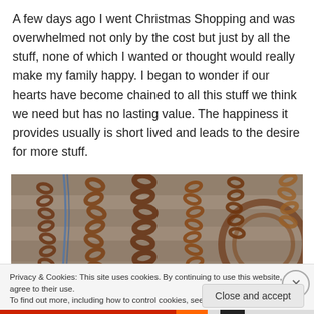A few days ago I went Christmas Shopping and was overwhelmed not only by the cost but just by all the stuff, none of which I wanted or thought would really make my family happy.  I began to wonder if our hearts have become chained to all this stuff we think we need but has no lasting value.  The happiness it provides usually is short lived and leads to the desire for more stuff.
[Figure (photo): Photo of multiple rusted metal chains hanging against a weathered wooden background, some blue ropes visible among the chains.]
Privacy & Cookies: This site uses cookies. By continuing to use this website, you agree to their use.
To find out more, including how to control cookies, see here: Cookie Policy